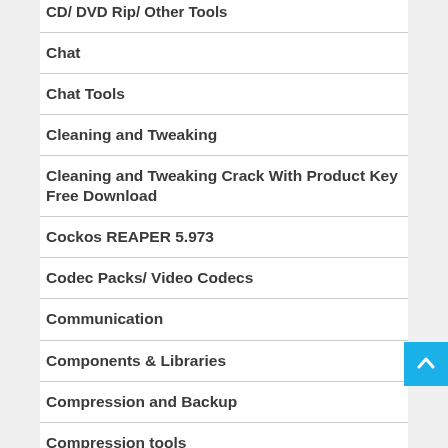CD/ DVD Rip/ Other Tools
Chat
Chat Tools
Cleaning and Tweaking
Cleaning and Tweaking Crack With Product Key Free Download
Cockos REAPER 5.973
Codec Packs/ Video Codecs
Communication
Components & Libraries
Compression and Backup
Compression tools
control the movement of your mouse